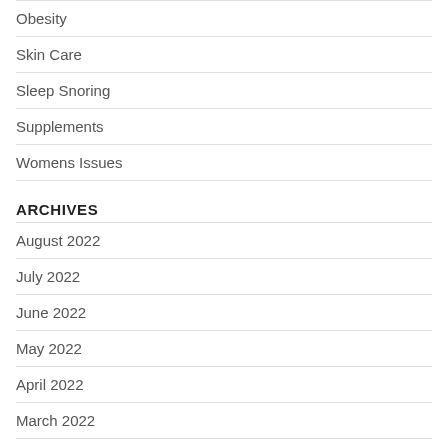Obesity
Skin Care
Sleep Snoring
Supplements
Womens Issues
ARCHIVES
August 2022
July 2022
June 2022
May 2022
April 2022
March 2022
February 2022
January 2022
December 2021